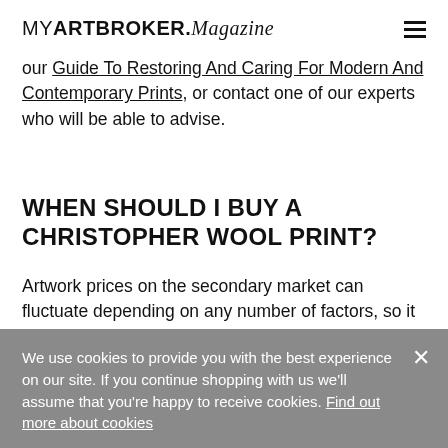MYARTBROKER.Magazine
our Guide To Restoring And Caring For Modern And Contemporary Prints, or contact one of our experts who will be able to advise.
WHEN SHOULD I BUY A CHRISTOPHER WOOL PRINT?
Artwork prices on the secondary market can fluctuate depending on any number of factors, so it is worth
We use cookies to provide you with the best experience on our site. If you continue shopping with us we'll assume that you're happy to receive cookies. Find out more about cookies